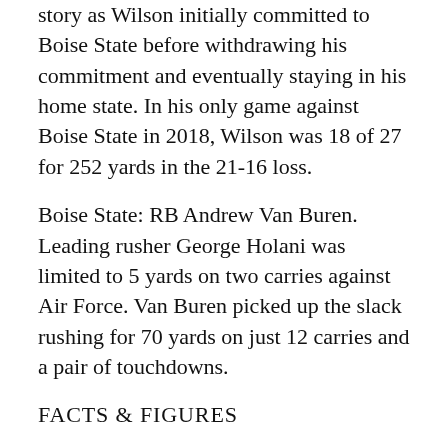story as Wilson initially committed to Boise State before withdrawing his commitment and eventually staying in his home state. In his only game against Boise State in 2018, Wilson was 18 of 27 for 252 yards in the 21-16 loss.
Boise State: RB Andrew Van Buren. Leading rusher George Holani was limited to 5 yards on two carries against Air Force. Van Buren picked up the slack rushing for 70 yards on just 12 carries and a pair of touchdowns.
FACTS & FIGURES
Both teams are ranked entering the matchup for the first time in series history. ... BYU is trying to improve to 8-0 for the fourth time in school history — previously reached the mark in 2001, 1984 and 1979. ... Of the previous five games played in Boise, four have been decided by five points or less. Three of those have been one-point wins by the Broncos. ... The